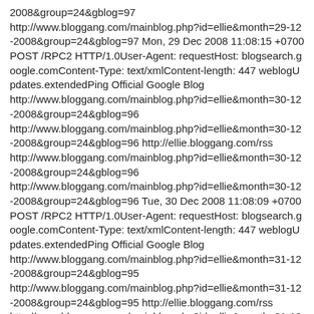2008&group=24&gblog=97
http://www.bloggang.com/mainblog.php?id=ellie&month=29-12-2008&group=24&gblog=97 Mon, 29 Dec 2008 11:08:15 +0700
POST /RPC2 HTTP/1.0User-Agent: requestHost: blogsearch.google.comContent-Type: text/xmlContent-length: 447 weblogUpdates.extendedPing Official Google Blog
http://www.bloggang.com/mainblog.php?id=ellie&month=30-12-2008&group=24&gblog=96
http://www.bloggang.com/mainblog.php?id=ellie&month=30-12-2008&group=24&gblog=96 http://ellie.bloggang.com/rss
http://www.bloggang.com/mainblog.php?id=ellie&month=30-12-2008&group=24&gblog=96
http://www.bloggang.com/mainblog.php?id=ellie&month=30-12-2008&group=24&gblog=96 Tue, 30 Dec 2008 11:08:09 +0700
POST /RPC2 HTTP/1.0User-Agent: requestHost: blogsearch.google.comContent-Type: text/xmlContent-length: 447 weblogUpdates.extendedPing Official Google Blog
http://www.bloggang.com/mainblog.php?id=ellie&month=31-12-2008&group=24&gblog=95
http://www.bloggang.com/mainblog.php?id=ellie&month=31-12-2008&group=24&gblog=95 http://ellie.bloggang.com/rss
http://www.bloggang.com/mainblog.php?id=ellie&month=31-12-2008&group=24&gblog=95
http://www.bloggang.com/mainblog.php?id=ellie&month=31-12-2008&group=24&gblog=95 Wed, 31 Dec 2008 11:08:01 +0700